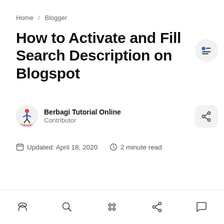Home / Blogger
How to Activate and Fill Search Description on Blogspot
Berbagi Tutorial Online
Contributor
Updated: April 18, 2020   2 minute read